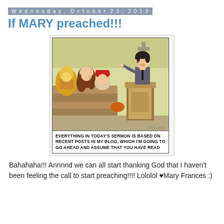Wednesday, October 23, 2013
If MARY preached!!!
[Figure (illustration): A cartoon showing a man in a suit preaching at a pulpit/podium with a microphone, while several congregation members (with colorful hair) sit in pews facing him. A cross is visible on the wall. Date stamp: 04-04-2007. Caption below reads: EVERYTHING IN TODAY'S SERMON IS BASED ON RECENT POSTS IN MY BLOG, WHICH I'M GOING TO GO AHEAD AND ASSUME THAT YOU HAVE READ]
Bahahaha!!! Annnnd we can all start thanking God that I haven't been feeling the call to start preaching!!!! Lololol ♥Mary Frances :)